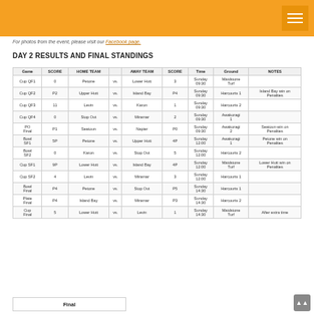For photos from the event, please visit our Facebook page.
DAY 2 RESULTS AND FINAL STANDINGS
| Game | SCORE | HOME TEAM |  | AWAY TEAM | SCORE | Time | Ground | NOTES |
| --- | --- | --- | --- | --- | --- | --- | --- | --- |
| Cup QF1 | 0 | Petone | vs. | Lower Hutt | 3 | Sunday 09:30 | Maidstone Turf |  |
| Cup QF2 | P2 | Upper Hutt | vs. | Island Bay | P4 | Sunday 09:30 | Harcourts 1 | Island Bay win on Penalties |
| Cup QF3 | 11 | Levin | vs. | Karon | 1 | Sunday 09:30 | Harcourts 2 |  |
| Cup QF4 | 0 | Stop Out | vs. | Miramar | 2 | Sunday 09:30 | Awakoragi 1 |  |
| PO Final | P1 | Seatoun | vs. | Napier | P0 | Sunday 09:30 | Awakoragi 2 | Seatoun win on Penalties |
| Bowl SF1 | 5P | Petone | vs. | Upper Hutt | 4P | Sunday 12:00 | Awakoragi 1 | Petone win on Penalties |
| Bowl SF2 | 0 | Karon | vs. | Stop Out | 5 | Sunday 12:00 | Harcourts 2 |  |
| Cup SF1 | 9P | Lower Hutt | vs. | Island Bay | 4P | Sunday 12:00 | Maidstone Turf | Lower Hutt win on Penalties |
| Cup SF2 | 4 | Levin | vs. | Miramar | 3 | Sunday 12:00 | Harcourts 1 |  |
| Bowl Final | P4 | Petone | vs. | Stop Out | P5 | Sunday 14:30 | Harcourts 1 |  |
| Plate Final | P4 | Island Bay | vs. | Miramar | P3 | Sunday 14:30 | Harcourts 2 |  |
| Cup Final | 5 | Lower Hutt | vs. | Levin | 1 | Sunday 14:30 | Maidstone Turf | After extra time |
Final